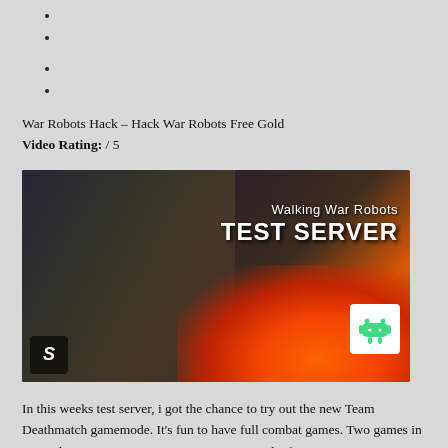War Robots Hack – Hack War Robots Free Gold
Video Rating: / 5
[Figure (photo): Thumbnail image for a Walking War Robots Test Server video, showing a large mech robot on the left side with fire and combat effects, overlaid with white text reading 'Walking War Robots TEST SERVER' on the right side, along with an Android logo icon and an 'S' channel logo.]
In this weeks test server, i got the chance to try out the new Team Deathmatch gamemode. It’s fun to have full combat games. Two games in one video. First game was on canyon against the famous War